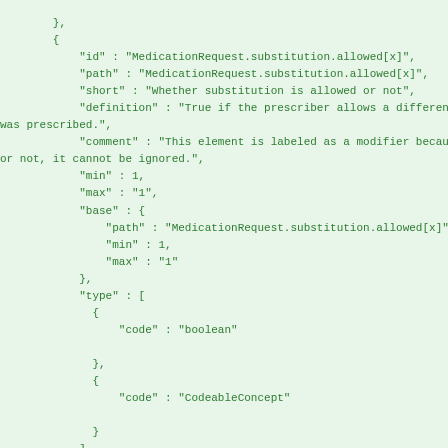JSON code block showing MedicationRequest.substitution.allowed[x] element definition with fields: id, path, short, definition, comment, min, max, base, type (boolean, CodeableConcept), constraint